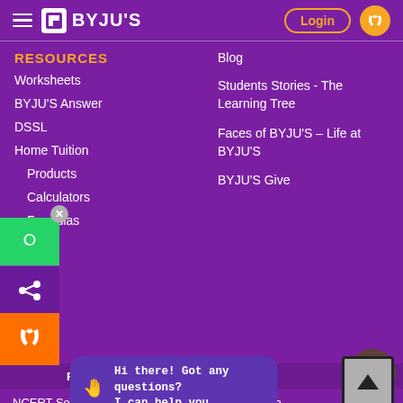BYJU'S - Login
RESOURCES
Worksheets
BYJU'S Answer
DSSL
Home Tuition
Products
Calculators
Formulas
Blog
Students Stories - The Learning Tree
Faces of BYJU'S – Life at BYJU'S
BYJU'S Give
FREE TEXTBOOK SOLUTIONS
NCERT Solutions
NCERT Exemplar
NCERT Solutions for Class 6
NCERT Solutions for Class 7
Maharashtra
Gujarat
Tamil Nadu
Karnataka
Hi there! Got any questions? I can help you...